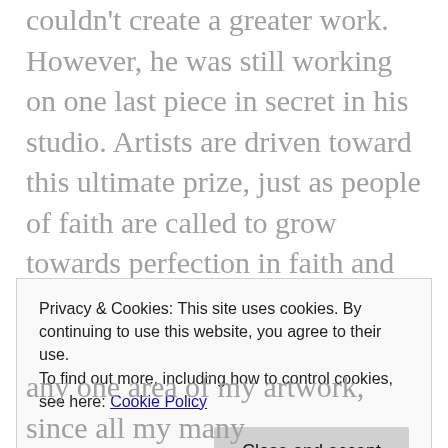couldn't create a greater work. However, he was still working on one last piece in secret in his studio. Artists are driven toward this ultimate prize, just as people of faith are called to grow towards perfection in faith and love.
The difference between perfectionism and Christian perfection is huge! The first seeks flawlessness in self, others, and in all things. I know people who get up in the middle of the
Privacy & Cookies: This site uses cookies. By continuing to use this website, you agree to their use. To find out more, including how to control cookies, see here: Cookie Policy
any one area of my artwork, since all my many